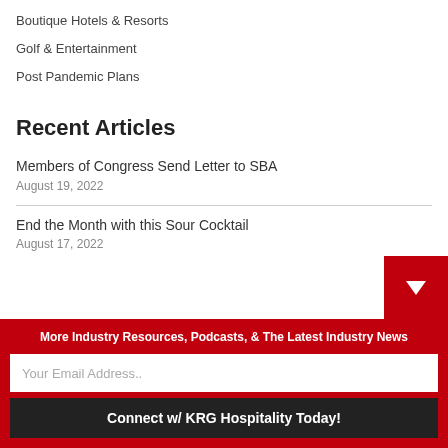Boutique Hotels & Resorts
Golf & Entertainment
Post Pandemic Plans
Recent Articles
Members of Congress Send Letter to SBA
August 19, 2022
End the Month with this Sour Cocktail
August 17, 2022
More Industry Resources, Podcasts, & The Latest Industry News
Your Email Address..
Connect w/ KRG Hospitality Today!